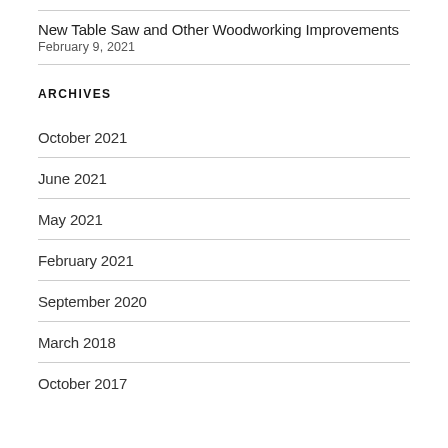New Table Saw and Other Woodworking Improvements
February 9, 2021
ARCHIVES
October 2021
June 2021
May 2021
February 2021
September 2020
March 2018
October 2017